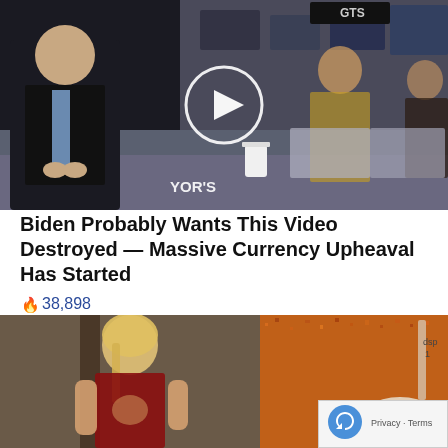[Figure (photo): Video thumbnail showing a man in a dark suit being interviewed at what appears to be a financial trading floor (NYSE). Two women are visible, one in yellow, one in dark clothing. A play button circle is overlaid in the center. 'YOR's' text visible on screen in background.]
Biden Probably Wants This Video Destroyed — Massive Currency Upheaval Has Started
🔥 38,898
[Figure (photo): Split image: left side shows a blonde woman in workout/gym attire leaning forward; right side shows a close-up of orange/red spices or seasoning with a measuring spoon. A reCAPTCHA badge with Privacy - Terms text is overlaid on the bottom right.]